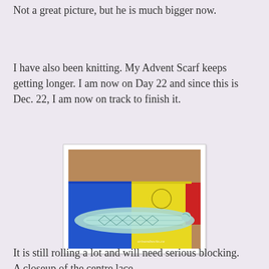Not a great picture, but he is much bigger now.
I have also been knitting. My Advent Scarf keeps getting longer. I am now on Day 22 and since this is Dec. 22, I am now on track to finish it.
[Figure (photo): Photo of a knitted lace advent scarf laid out on colourful foam puzzle mats (blue and yellow), with the scarf running horizontally through the centre. The watermark 'artsandsocks.ca' is visible in the lower right.]
It is still rolling a lot and will need serious blocking.
A closeup of the centre lace.